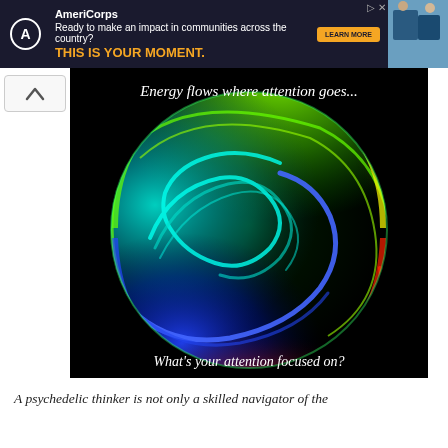[Figure (infographic): AmeriCorps advertisement banner with dark navy background, logo, tagline 'Ready to make an impact in communities across the country?', bold orange text 'THIS IS YOUR MOMENT.', orange 'LEARN MORE' button, and a photo of people on the right side.]
[Figure (illustration): A colorful glowing sphere on a black background with swirling energy streams in rainbow colors (green, cyan, blue, red, yellow). Text overlay reads 'Energy flows where attention goes...' at the top and 'What's your attention focused on?' at the bottom.]
A psychedelic thinker is not only a skilled navigator of the